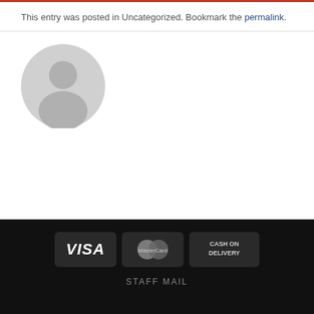This entry was posted in Uncategorized. Bookmark the permalink.
[Figure (illustration): Generic user avatar - grey circle with person silhouette]
[Figure (infographic): Payment method badges: VISA, MasterCard, Cash on Delivery]
STAFF MAIL
Copyright 2022 © Bespoke Kitchens & Bathrooms